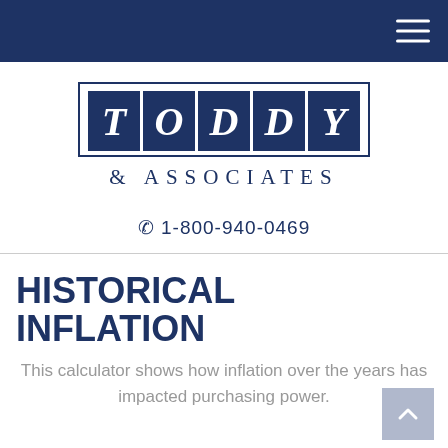Toddy & Associates — navigation bar
[Figure (logo): Toddy & Associates logo: dark navy blue rectangular tiles spelling TODDY in white italic serif letters, below which reads '& ASSOCIATES' in spaced navy serif text, all enclosed in a navy border box.]
☎ 1-800-940-0469
HISTORICAL INFLATION
This calculator shows how inflation over the years has impacted purchasing power.